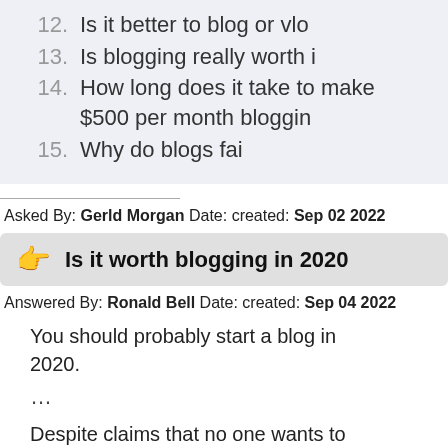12. Is it better to blog or vlo
13. Is blogging really worth i
14. How long does it take to make $500 per month bloggin
15. Why do blogs fai
Asked By: Gerld Morgan Date: created: Sep 02 2022
Is it worth blogging in 2020
Answered By: Ronald Bell Date: created: Sep 04 2022
You should probably start a blog in 2020.
…
Despite claims that no one wants to read long-form content, or that all